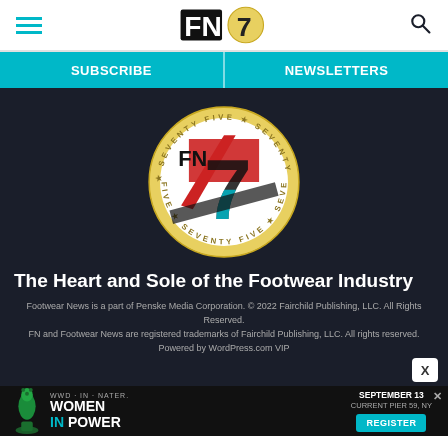FN7 (Footwear News logo) — hamburger menu left, search icon right
SUBSCRIBE | NEWSLETTERS
[Figure (logo): FN 75th anniversary circular badge logo with red, black, and teal '75' numeral design, surrounded by gold border text reading 'SEVENTY FIVE' repeated around the circumference]
The Heart and Sole of the Footwear Industry
Footwear News is a part of Penske Media Corporation. © 2022 Fairchild Publishing, LLC. All Rights Reserved. FN and Footwear News are registered trademarks of Fairchild Publishing, LLC. All rights reserved. Powered by WordPress.com VIP
[Figure (infographic): Advertisement banner: Women In Power event, September 13, Current Pier 59, NY with Register button, featuring green chess queen piece]